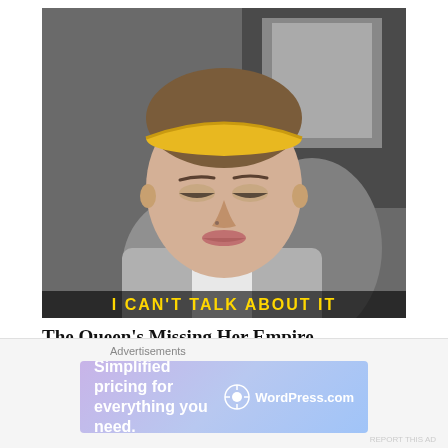[Figure (photo): Close-up photo of a young woman with a yellow headband, looking downward slightly. She is wearing a grey/white outfit. The image appears to be a video thumbnail or screenshot. At the bottom of the image, yellow text overlay reads 'I CAN'T TALK ABOUT IT'.]
The Queen's Missing Her Empire
Aug 12, 2022
Advertisements
[Figure (other): WordPress.com advertisement banner with gradient purple-blue background. Text reads 'Simplified pricing for everything you need.' with WordPress.com logo on the right.]